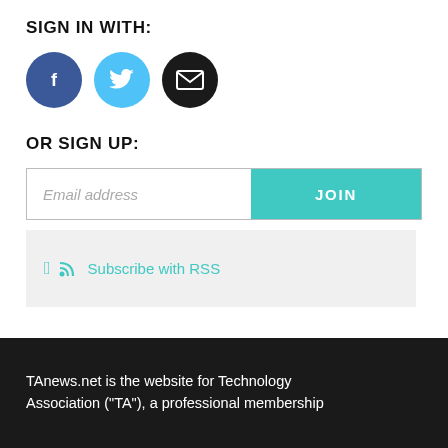SIGN IN WITH:
[Figure (illustration): Three social login icons: Facebook (dark blue circle with f), Twitter (light blue circle with bird), and Email (black circle with envelope)]
OR SIGN UP:
[Figure (screenshot): Email address input field with teal JOIN button]
Subscribe with RSS
TAnews.net is the website for Technology Association ("TA"), a professional membership